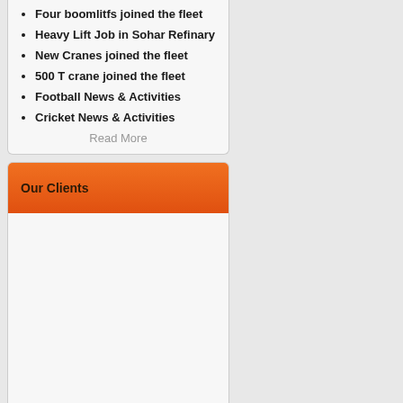Four boomlitfs joined the fleet
Heavy Lift Job in Sohar Refinary
New Cranes joined the fleet
500 T crane joined the fleet
Football News & Activities
Cricket News & Activities
Read More
Our Clients
[Figure (other): Our Clients content area - blank/empty client logos section]
Weather Condition
Weather request failed